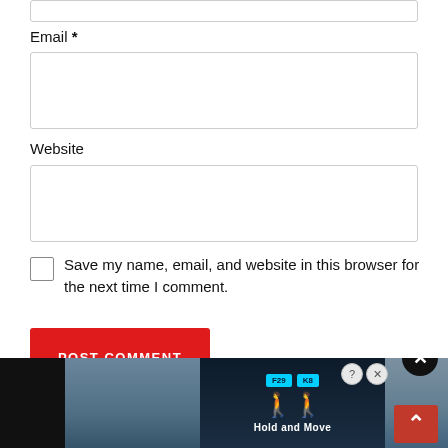Email *
[Figure (screenshot): Empty email input text box with light gray border]
Website
[Figure (screenshot): Empty website input text box with light gray border]
Save my name, email, and website in this browser for the next time I comment.
[Figure (screenshot): Red POST COMMENT button]
[Figure (screenshot): Advertisement banner at the bottom showing a mobile app called Hold and Move with figures and trees background, with close and scroll-to-top buttons]